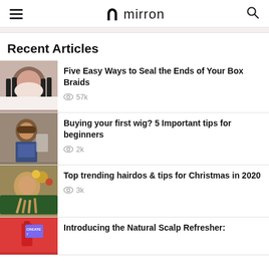mirron
Recent Articles
[Figure (photo): Person with box braids smiling, lying down]
Five Easy Ways to Seal the Ends of Your Box Braids
57k views
[Figure (photo): Person with short brown wig wearing glasses]
Buying your first wig? 5 Important tips for beginners
2k views
[Figure (photo): Woman with long blonde braids near Christmas tree]
Top trending hairdos & tips for Christmas in 2020
3k views
[Figure (photo): Red product bottle with CREATE badge]
Introducing the Natural Scalp Refresher: